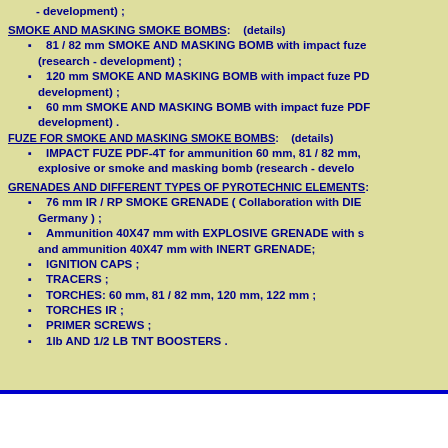TIME FUZE PTF-3T for ammunition 60 mm with illuminating - development) ;
SMOKE AND MASKING SMOKE BOMBS
81 / 82 mm SMOKE AND MASKING BOMB with impact fuze (research - development) ;
120 mm SMOKE AND MASKING BOMB with impact fuze PD- development) ;
60 mm SMOKE AND MASKING BOMB with impact fuze PDF- development) .
FUZE FOR SMOKE AND MASKING SMOKE BOMBS
IMPACT FUZE PDF-4T for ammunition 60 mm, 81 / 82 mm, explosive or smoke and masking bomb (research - development)
GRENADES AND DIFFERENT TYPES OF PYROTECHNIC ELEMENTS
76 mm IR / RP SMOKE GRENADE ( Collaboration with DIEHL Germany ) ;
Ammunition 40X47 mm with EXPLOSIVE GRENADE with s and ammunition 40X47 mm with INERT GRENADE;
IGNITION CAPS ;
TRACERS ;
TORCHES: 60 mm, 81 / 82 mm, 120 mm, 122 mm ;
TORCHES IR ;
PRIMER SCREWS ;
1lb AND 1/2 LB TNT BOOSTERS .